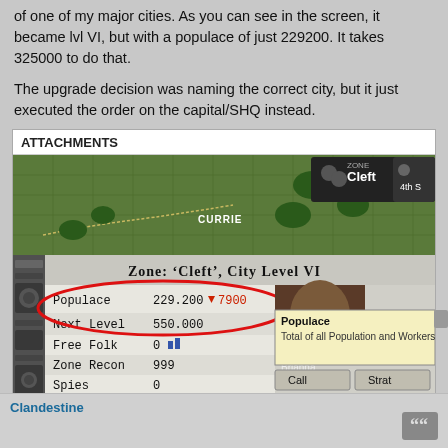of one of my major cities. As you can see in the screen, it became lvl VI, but with a populace of just 229200. It takes 325000 to do that.
The upgrade decision was naming the correct city, but it just executed the order on the capital/SHQ instead.
ATTACHMENTS
[Figure (screenshot): Game screenshot showing Zone: 'Cleft', City Level VI panel. Populace: 229.200 (down 7900), Next Level: 550.000, Free Folk: 0, Zone Recon: 999, Spies: 0. A tooltip reads 'Populace - Total of all Population and Workers in this'. The zone name 'Currie' is visible on the map, and a zone panel shows 'ZONE Cleft' and '4th S[H]'. A character portrait shows 'Brianna'. A red oval circles the Populace and Next Level rows.]
CityUpgra..Populace.jpg (79.81 KiB) Viewed 75 times
Clandestine